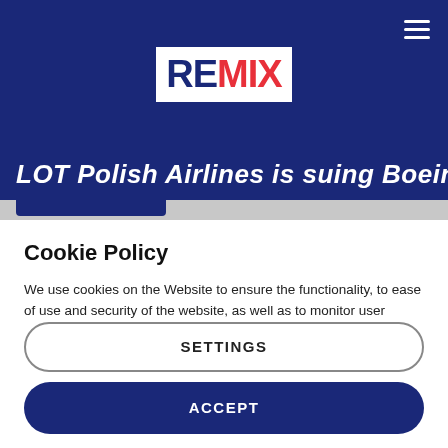REMIX
LOT Polish Airlines is suing Boeing for
Cookie Policy
We use cookies on the Website to ensure the functionality, to ease of use and security of the website, as well as to monitor user activity and to collect information about your browsing habits in order to make advertising relevant to you and your interests.
Clicking on "Accept" you can allow all cookies. If you would like to reject or customize, please click on "Settings".
Read more: Cookie Policy
SETTINGS
ACCEPT